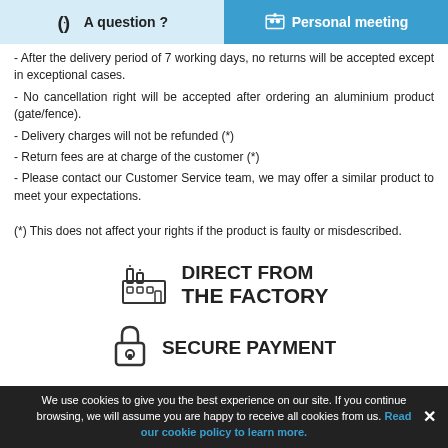A question ? | Personal meeting
- After the delivery period of 7 working days, no returns will be accepted except in exceptional cases.
- No cancellation right will be accepted after ordering an aluminium product (gate/fence).
- Delivery charges will not be refunded (*)
- Return fees are at charge of the customer (*)
- Please contact our Customer Service team, we may offer a similar product to meet your expectations.
(*) This does not affect your rights if the product is faulty or misdescribed.
[Figure (illustration): Factory building icon]
DIRECT FROM THE FACTORY
[Figure (illustration): Padlock/secure payment icon]
SECURE PAYMENT
We use cookies to give you the best experience on our site. If you continue browsing, we will assume you are happy to receive all cookies from us. Read our cookie policy to learn more.